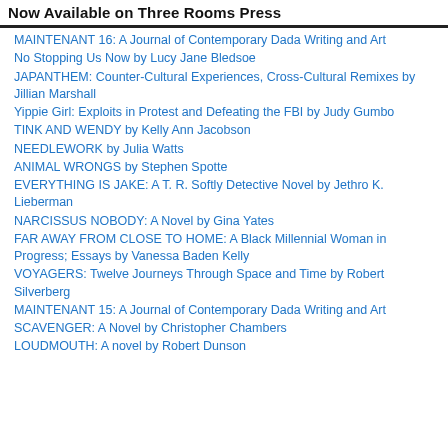Now Available on Three Rooms Press
MAINTENANT 16: A Journal of Contemporary Dada Writing and Art
No Stopping Us Now by Lucy Jane Bledsoe
JAPANTHEM: Counter-Cultural Experiences, Cross-Cultural Remixes by Jillian Marshall
Yippie Girl: Exploits in Protest and Defeating the FBI by Judy Gumbo
TINK AND WENDY by Kelly Ann Jacobson
NEEDLEWORK by Julia Watts
ANIMAL WRONGS by Stephen Spotte
EVERYTHING IS JAKE: A T. R. Softly Detective Novel by Jethro K. Lieberman
NARCISSUS NOBODY: A Novel by Gina Yates
FAR AWAY FROM CLOSE TO HOME: A Black Millennial Woman in Progress; Essays by Vanessa Baden Kelly
VOYAGERS: Twelve Journeys Through Space and Time by Robert Silverberg
MAINTENANT 15: A Journal of Contemporary Dada Writing and Art
SCAVENGER: A Novel by Christopher Chambers
LOUDMOUTH: A novel by Robert Dunson